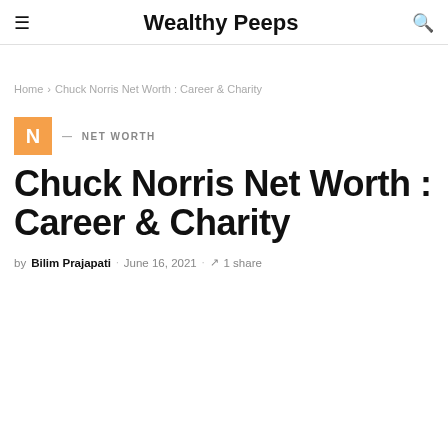Wealthy Peeps
Home > Chuck Norris Net Worth : Career & Charity
N — NET WORTH
Chuck Norris Net Worth : Career & Charity
by Bilim Prajapati · June 16, 2021 · 1 share